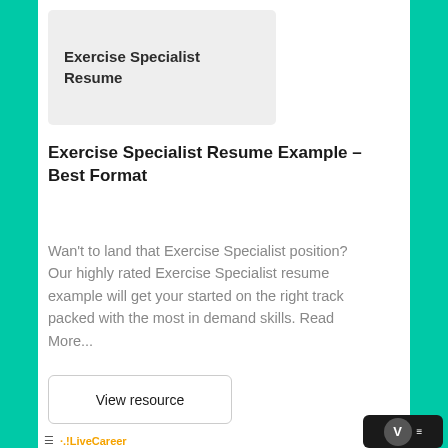[Figure (screenshot): Resume preview card showing 'Exercise Specialist Resume' text on a light gray background]
Exercise Specialist Resume Example – Best Format
Wan't to land that Exercise Specialist position? Our highly rated Exercise Specialist resume example will get your started on the right track packed with the most in demand skills. Read More...
View resource
[Figure (screenshot): LiveCareer website screenshot showing navigation bar with hamburger menu and LiveCareer logo, and a dark bar below with orange text for Student Kinesiologist resume search]